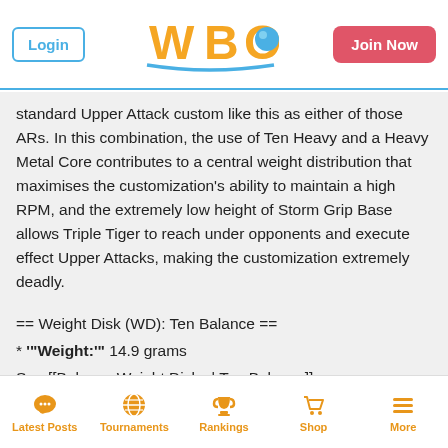WBO — Login | Join Now
standard Upper Attack custom like this as either of those ARs. In this combination, the use of Ten Heavy and a Heavy Metal Core contributes to a central weight distribution that maximises the customization's ability to maintain a high RPM, and the extremely low height of Storm Grip Base allows Triple Tiger to reach under opponents and execute effect Upper Attacks, making the customization extremely deadly.
== Weight Disk (WD): Ten Balance ==
* '"'Weight:'"' 14.9 grams
See [[Balance Weight Disks | Ten Balance]].
== Spin Gear (SG): Right Engine Gear (Metal Semi-Flat)==
* '"'Weight:'"' 11.0 grams
Right Engine Gear (Metal Semi-Flat), despite its name...
Latest Posts | Tournaments | Rankings | Shop | More